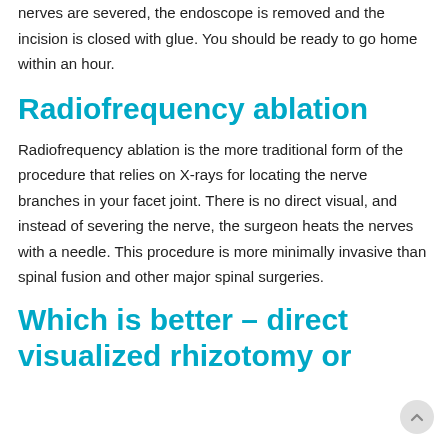nerves are severed, the endoscope is removed and the incision is closed with glue. You should be ready to go home within an hour.
Radiofrequency ablation
Radiofrequency ablation is the more traditional form of the procedure that relies on X-rays for locating the nerve branches in your facet joint. There is no direct visual, and instead of severing the nerve, the surgeon heats the nerves with a needle. This procedure is more minimally invasive than spinal fusion and other major spinal surgeries.
Which is better – direct visualized rhizotomy or